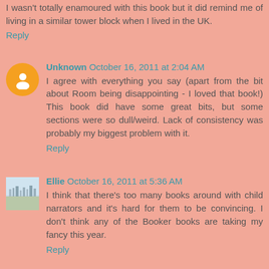I wasn't totally enamoured with this book but it did remind me of living in a similar tower block when I lived in the UK.
Reply
Unknown October 16, 2011 at 2:04 AM
I agree with everything you say (apart from the bit about Room being disappointing - I loved that book!) This book did have some great bits, but some sections were so dull/weird. Lack of consistency was probably my biggest problem with it.
Reply
Ellie October 16, 2011 at 5:36 AM
I think that there's too many books around with child narrators and it's hard for them to be convincing. I don't think any of the Booker books are taking my fancy this year.
Reply